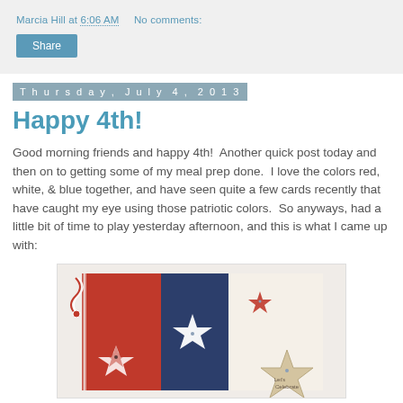Marcia Hill at 6:06 AM   No comments:
Share
Thursday, July 4, 2013
Happy 4th!
Good morning friends and happy 4th!  Another quick post today and then on to getting some of my meal prep done.  I love the colors red, white, & blue together, and have seen quite a few cards recently that have caught my eye using those patriotic colors.  So anyways, had a little bit of time to play yesterday afternoon, and this is what I came up with:
[Figure (photo): A handmade patriotic greeting card featuring red, navy blue, and cream/white panels with star cutouts in various sizes and colors (red, white, navy, tan/kraft). A red and white twine bow decorates the left side. The card appears to say 'Let's Celebrate' on a tan star.]